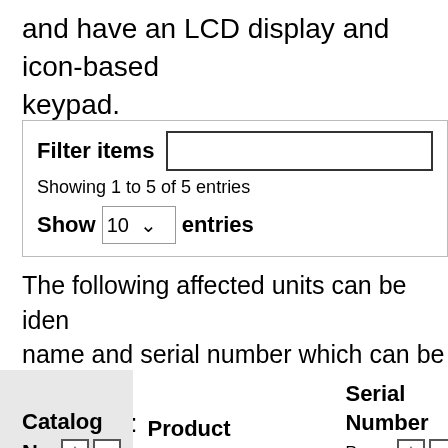and have an LCD display and icon-based keypad.
Filter items [input box]
Showing 1 to 5 of 5 entries
Show 10 entries
The following affected units can be identified by name and serial number which can be found on the panel unit:
| Catalog No. | Product Name | Serial Number Range | D... |
| --- | --- | --- | --- |